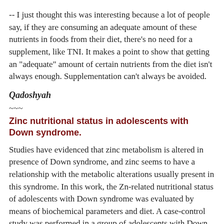-- I just thought this was interesting because a lot of people say, if they are consuming an adequate amount of these nutrients in foods from their diet, there's no need for a supplement, like TNI. It makes a point to show that getting an "adequate" amount of certain nutrients from the diet isn't always enough. Supplementation can't always be avoided.
Qadoshyah
~~~
Zinc nutritional status in adolescents with Down syndrome.
Studies have evidenced that zinc metabolism is altered in presence of Down syndrome, and zinc seems to have a relationship with the metabolic alterations usually present in this syndrome. In this work, the Zn-related nutritional status of adolescents with Down syndrome was evaluated by means of biochemical parameters and diet. A case-control study was performed in a group of adolescents with Down syndrome (n = 30) and a control group (n = 32), of both sexes, aged 10 to 19 years. Diet evaluation was accomplished by using a 3-day dietary record, and the analysis was performed by